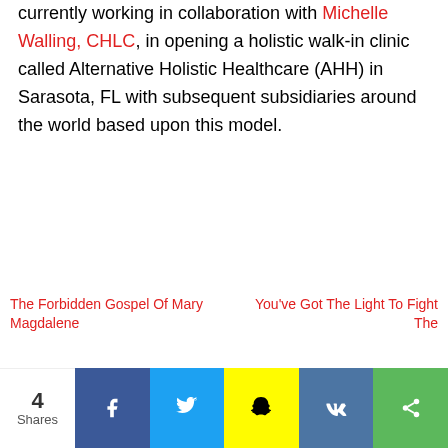currently working in collaboration with Michelle Walling, CHLC, in opening a holistic walk-in clinic called Alternative Holistic Healthcare (AHH) in Sarasota, FL with subsequent subsidiaries around the world based upon this model.
The Forbidden Gospel Of Mary Magdalene
You've Got The Light To Fight The
4 Shares